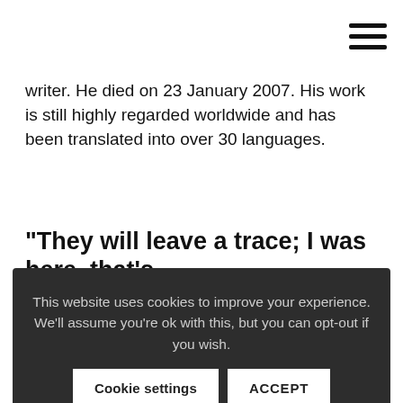☰
writer. He died on 23 January 2007. His work is still highly regarded worldwide and has been translated into over 30 languages.
“They will leave a trace; I was here, that’s
This website uses cookies to improve your experience. We'll assume you're ok with this, but you can opt-out if you wish.
middle of the process of decolonization of Portugal and just before the declaration of independence. Portuguese citizens flee from the wealthier districts of Luanda. Shops close, police forces gradually disappear from public life, mountains of garbage bags begin to pile up in all neighborhoods. Based in the crowded Hotel Tivoli, the reporter observes the deserted city. In the last months before the declaration of